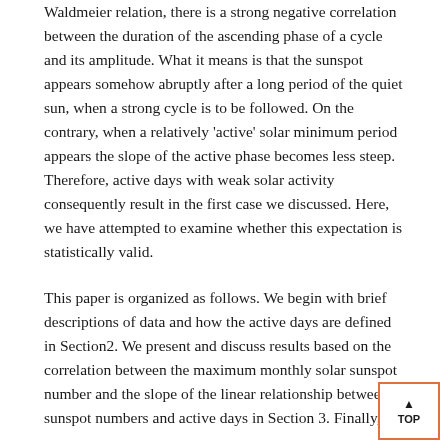Waldmeier relation, there is a strong negative correlation between the duration of the ascending phase of a cycle and its amplitude. What it means is that the sunspot appears somehow abruptly after a long period of the quiet sun, when a strong cycle is to be followed. On the contrary, when a relatively 'active' solar minimum period appears the slope of the active phase becomes less steep. Therefore, active days with weak solar activity consequently result in the first case we discussed. Here, we have attempted to examine whether this expectation is statistically valid.
This paper is organized as follows. We begin with brief descriptions of data and how the active days are defined in Section2. We present and discuss results based on the correlation between the maximum monthly solar sunspot number and the slope of the linear relationship between sunspot numbers and active days in Section 3. Finally, we